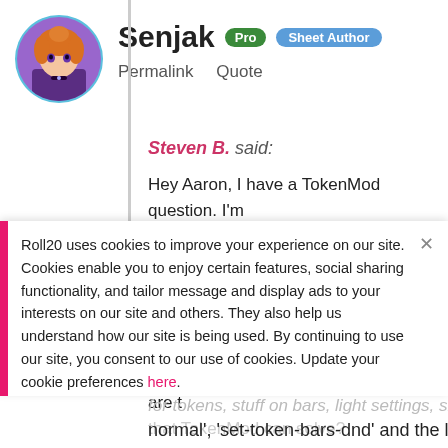[Figure (illustration): Circular avatar image of an anime-style character with orange hair, wearing purple outfit, against a blue circular border]
Senjak Pro Sheet Author
Permalink  Quote
Steven B. said:
Hey Aaron, I have a TokenMod question. I'm new to TokenMod, and it's . . . overwhelming. And t... closed, and has 32 pages of replies.

I guess I'm struggling to understand, in a typ... some typical uses of TokenMod? Like, are t... that TokenMod can solve?
Roll20 uses cookies to improve your experience on our site. Cookies enable you to enjoy certain features, social sharing functionality, and tailor message and display ads to your interests on our site and others. They also help us understand how our site is being used. By continuing to use our site, you consent to our use of cookies. Update your cookie preferences here.
for tokens, stuff on bars, light settings, sizes. I... normal', 'set-token-bars-dnd' and the like and I'r